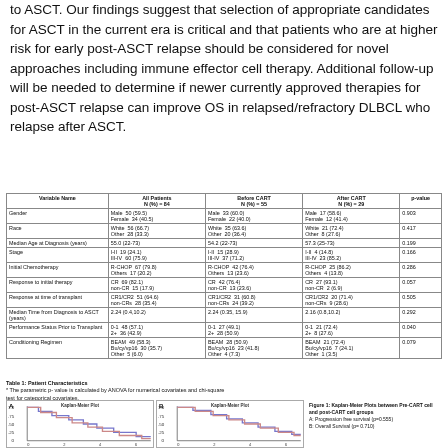to ASCT. Our findings suggest that selection of appropriate candidates for ASCT in the current era is critical and that patients who are at higher risk for early post-ASCT relapse should be considered for novel approaches including immune effector cell therapy. Additional follow-up will be needed to determine if newer currently approved therapies for post-ASCT relapse can improve OS in relapsed/refractory DLBCL who relapse after ASCT.
| Variable Name | All Patients N (%) = 84 | Before CART N (%) = 55 | After CART N (%) = 29 | p-value |
| --- | --- | --- | --- | --- |
| Gender | Male 50 (59.5)
Female 34 (40.5) | Male 33 (60.0)
Female 22 (40.0) | Male 17 (58.6)
Female 12 (41.4) | 0.903 |
| Race | White 56 (66.7)
Other 28 (33.3) | White 35 (63.6)
Other 20 (36.4) | White 21 (72.4)
Other 8 (27.6) | 0.417 |
| Median Age at Diagnosis (years) | 55.0 (22-73) | 54.2 (22-73) | 57.3 (25-73) | 0.199 |
| Stage | I-II 19 (24.1)
III-IV 60 (75.9) | I-II 15 (28.9)
III-IV 37 (71.2) | I-II 4 (14.8)
III-IV 23 (85.2) | 0.166 |
| Initial Chemotherapy | R-CHOP 67 (79.8)
Others 17 (20.2) | R-CHOP 42 (76.4)
Others 13 (23.6) | R-CHOP 25 (86.2)
Others 4 (13.8) | 0.286 |
| Response to initial therapy | CR 69 (82.1)
non-CR 15 (17.9) | CR 42 (76.4)
non-CR 13 (23.6) | CR 27 (93.1)
non-CR 2 (6.9) | 0.057 |
| Response at time of transplant | CR1/CR2 51 (64.6)
non-CRs 28 (35.4) | CR1/CR2 31 (60.8)
non-CRs 24 (39.2) | CR1/CR2 20 (71.4)
non-CRs 9 (28.6) | 0.505 |
| Median Time from Diagnosis to ASCT (years) | 2.24 (0.4,10.2) | 2.24 (0.35, 15.9) | 2.16 (0.8,10.2) | 0.292 |
| Performance Status Prior to Transplant | 0-1 48 (57.1)
2+ 36 (42.9) | 0-1 27 (49.1)
2+ 28 (50.9) | 0-1 21 (72.4)
2+ 8 (27.6) | 0.040 |
| Conditioning Regimen | BEAM 49 (58.3)
Bu/cy/vp16 30 (35.7)
Other 5 (6.0) | BEAM 28 (50.9)
Bu/cy/vp16 23 (41.8)
Other 4 (7.3) | BEAM 21 (72.4)
Bu/cy/vp16 7 (24.1)
Other 1 (3.5) | 0.079 |
Table 1: Patient Characteristics
* The parametric p-value is calculated by ANOVA for numerical covariates and chi-square test for categorical covariates.
[Figure (line-chart): Plot A: Kaplan-Meier survival curve (Progression free survival)]
[Figure (line-chart): Plot B: Kaplan-Meier survival curve (Overall Survival)]
Figure 1: Kaplan-Meier Plots between Pre-CART cell and post-CART cell groups
A: Progression free survival (p=0.555)
B: Overall Survival (p= 0.710)